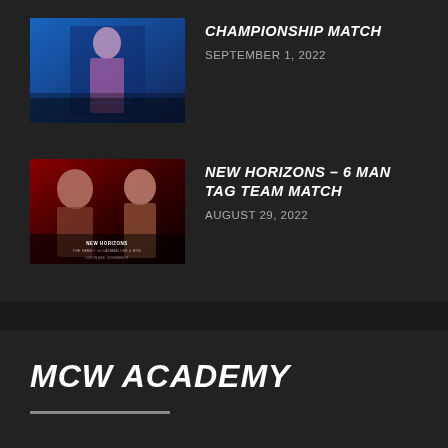[Figure (photo): Wrestling event thumbnail - female wrestler on stage with blue lighting]
CHAMPIONSHIP MATCH
SEPTEMBER 1, 2022
[Figure (photo): New Horizons event poster - two wrestlers with red dramatic lighting, The Family vs G&G]
NEW HORIZONS – 6 MAN TAG TEAM MATCH
AUGUST 29, 2022
MCW ACADEMY
ACADEMY HOME
ABOUT